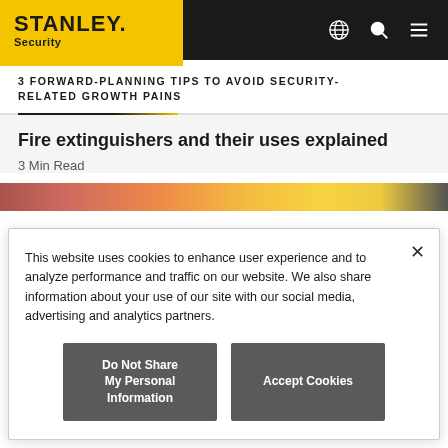STANLEY. Security
3 FORWARD-PLANNING TIPS TO AVOID SECURITY-RELATED GROWTH PAINS
Fire extinguishers and their uses explained
3 Min Read
This website uses cookies to enhance user experience and to analyze performance and traffic on our website. We also share information about your use of our site with our social media, advertising and analytics partners.
Do Not Share My Personal Information
Accept Cookies